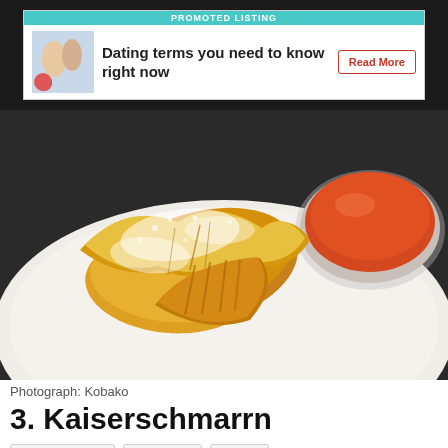[Figure (screenshot): Promoted listing advertisement banner: 'Dating terms you need to know right now' with Read More button]
[Figure (photo): Close-up photograph of Kaiserschmarrn — fluffy torn pancake pieces dusted with powdered sugar on a white plate, with a bowl of red jam (plum sauce) on the side. Photograph by Kobako.]
Photograph: Kobako
3. Kaiserschmarrn
Restaurants
German
€€€€
Taking its name from the Kaiser Franz Joseph I (who